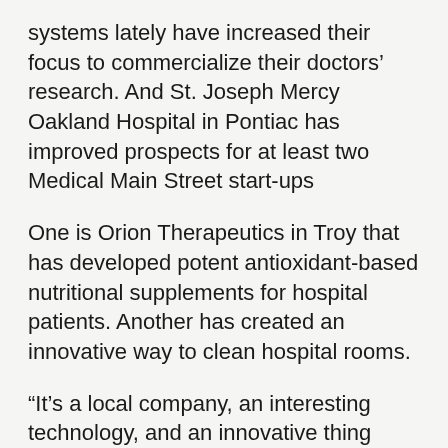systems lately have increased their focus to commercialize their doctors' research. And St. Joseph Mercy Oakland Hospital in Pontiac has improved prospects for at least two Medical Main Street start-ups
One is Orion Therapeutics in Troy that has developed potent antioxidant-based nutritional supplements for hospital patients. Another has created an innovative way to clean hospital rooms.
“It’s a local company, an interesting technology, and an innovative thing using ionic products that are safe and effective and allow you to turn rooms around more quickly,” said Jack Weiner, president of the Pontiac hospital and a board member of